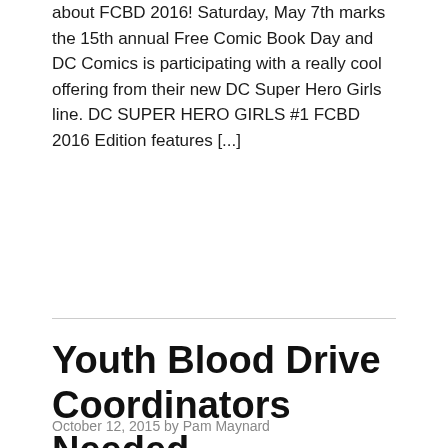about FCBD 2016! Saturday, May 7th marks the 15th annual Free Comic Book Day and DC Comics is participating with a really cool offering from their new DC Super Hero Girls line. DC SUPER HERO GIRLS #1 FCBD 2016 Edition features [...]
Youth Blood Drive Coordinators Needed – #RedCross #SocialGood @RedCrossNNE
October 12, 2015 by Pam Maynard